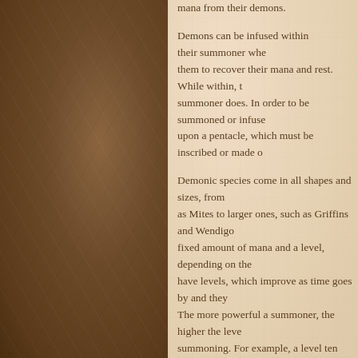mana from their demons.
Demons can be infused within their summoner when them to recover their mana and rest. While within, the summoner does. In order to be summoned or infuse upon a pentacle, which must be inscribed or made of
Demonic species come in all shapes and sizes, from as Mites to larger ones, such as Griffins and Wendigo fixed amount of mana and a level, depending on the have levels, which improve as time goes by and they The more powerful a summoner, the higher the level summoning. For example, a level ten summoner cou level one, or one Minotaur, which is level ten.
Demons are captured from a disk-shaped world cal of this world is an abyss, where warped, tentacledd The outer rim is made of a mars-like desert called th jungles, seas, mountains and volcanoes as you come most of the demons can be found.
The ether is accessed by a keyed pentacle, differing